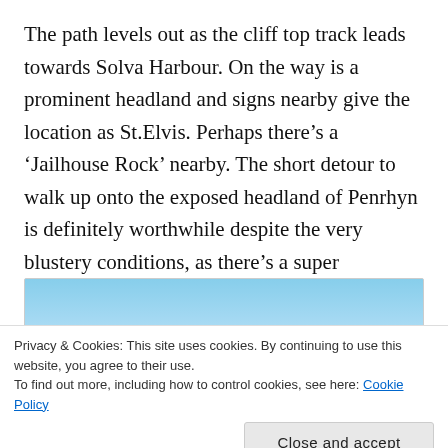The path levels out as the cliff top track leads towards Solva Harbour. On the way is a prominent headland and signs nearby give the location as St.Elvis. Perhaps there’s a ‘Jailhouse Rock’ nearby. The short detour to walk up onto the exposed headland of Penrhyn is definitely worthwhile despite the very blustery conditions, as there’s a super viewpoint across to the Gribin ridge and the inlet of Solva Harbour.
[Figure (photo): Partially visible photograph showing a coastal/harbour scene with blue sky at top, partially obscured by a cookie consent overlay banner]
Privacy & Cookies: This site uses cookies. By continuing to use this website, you agree to their use.
To find out more, including how to control cookies, see here: Cookie Policy
Close and accept